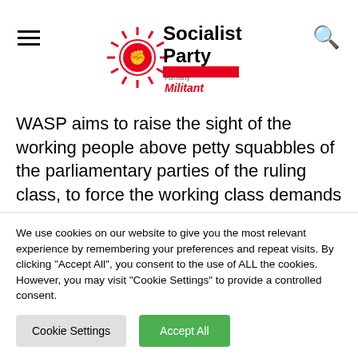Socialist Party — Formerly Militant
WASP aims to raise the sight of the working people above petty squabbles of the parliamentary parties of the ruling class, to force the working class demands on the public discourse and struggle for a socialist alternative to the current crisis of capitalism and the devastating consequences it entails for the jobs
We use cookies on our website to give you the most relevant experience by remembering your preferences and repeat visits. By clicking "Accept All", you consent to the use of ALL the cookies. However, you may visit "Cookie Settings" to provide a controlled consent.